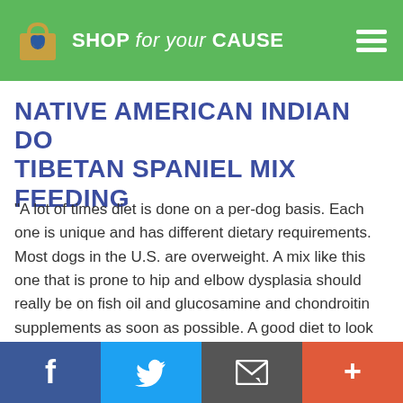SHOP for your CAUSE
NATIVE AMERICAN INDIAN DOG TIBETAN SPANIEL MIX FEEDING
"A lot of times diet is done on a per-dog basis. Each one is unique and has different dietary requirements. Most dogs in the U.S. are overweight. A mix like this one that is prone to hip and elbow dysplasia should really be on fish oil and glucosamine and chondroitin supplements as soon as possible. A good diet to look into is Raw Food Diet. A raw food diet will be especially good for the Wolf background.
Facebook | Twitter | Email | Plus